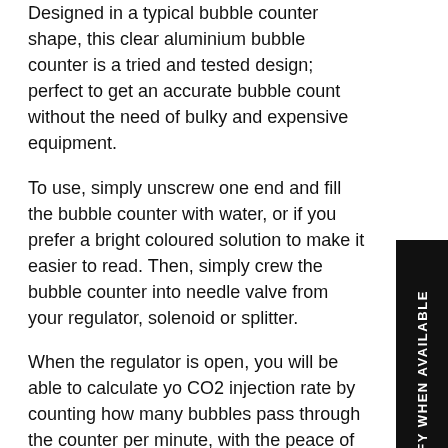Designed in a typical bubble counter shape, this clear aluminium bubble counter is a tried and tested design; perfect to get an accurate bubble count without the need of bulky and expensive equipment.
To use, simply unscrew one end and fill the bubble counter with water, or if you prefer a bright coloured solution to make it easier to read. Then, simply crew the bubble counter into needle valve from your regulator, solenoid or splitter.
When the regulator is open, you will be able to calculate your CO2 injection rate by counting how many bubbles pass through the counter per minute, with the peace of mind that your equipment is protected in the event of water siphoning back towards your equipment.
CHARACTERISTICS
M10x1 Female Thread
Compatible with all our regulators and solenoids
Easy disassembling in cleaning and filling up water